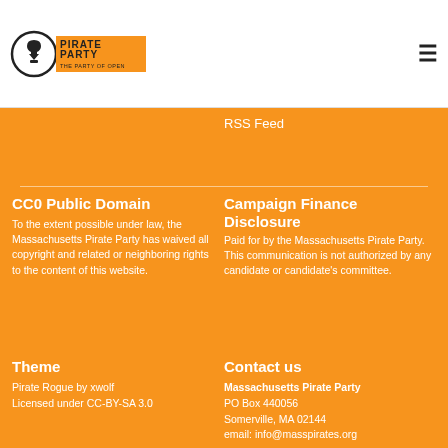[Figure (logo): Pirate Party logo — circular black and white icon with skull/arrow, text 'PIRATE PARTY' in black/orange, tagline 'THE PARTY OF OPEN']
RSS Feed
CC0 Public Domain
To the extent possible under law, the Massachusetts Pirate Party has waived all copyright and related or neighboring rights to the content of this website.
Campaign Finance Disclosure
Paid for by the Massachusetts Pirate Party. This communication is not authorized by any candidate or candidate's committee.
Theme
Pirate Rogue by xwolf
Licensed under CC-BY-SA 3.0
Contact us
Massachusetts Pirate Party
PO Box 440056
Somerville, MA 02144
email: info@masspirates.org